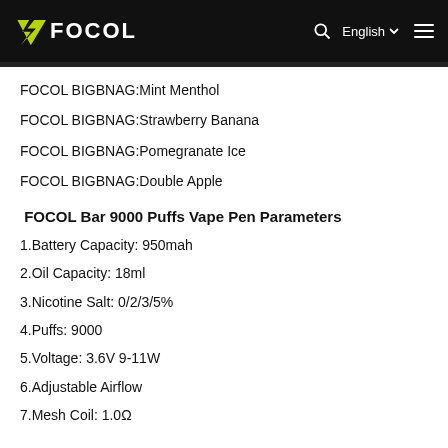FOCOL  English  ☰
FOCOL BIGBNAG:Mint Menthol
FOCOL BIGBNAG:Strawberry Banana
FOCOL BIGBNAG:Pomegranate Ice
FOCOL BIGBNAG:Double Apple
FOCOL Bar 9000 Puffs Vape Pen Parameters
1.Battery Capacity: 950mah
2.Oil Capacity: 18ml
3.Nicotine Salt: 0/2/3/5%
4.Puffs: 9000
5.Voltage: 3.6V 9-11W
6.Adjustable Airflow
7.Mesh Coil: 1.0Ω